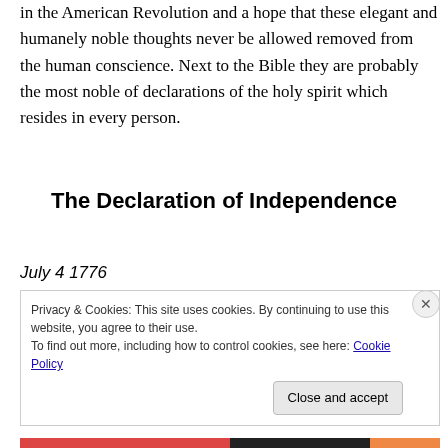in the American Revolution and a hope that these elegant and humanely noble thoughts never be allowed removed from the human conscience. Next to the Bible they are probably the most noble of declarations of the holy spirit which resides in every person.
The Declaration of Independence
July 4 1776
Privacy & Cookies: This site uses cookies. By continuing to use this website, you agree to their use.
To find out more, including how to control cookies, see here: Cookie Policy
Close and accept